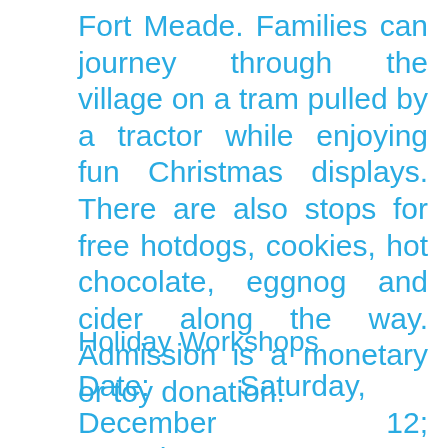Fort Meade. Families can journey through the village on a tram pulled by a tractor while enjoying fun Christmas displays. There are also stops for free hotdogs, cookies, hot chocolate, eggnog and cider along the way. Admission is a monetary or toy donation.
Holiday Workshops
Date: Saturday, December 12; Saturday, Dec. 19; Monday-Wednesday, Dec. 21-23